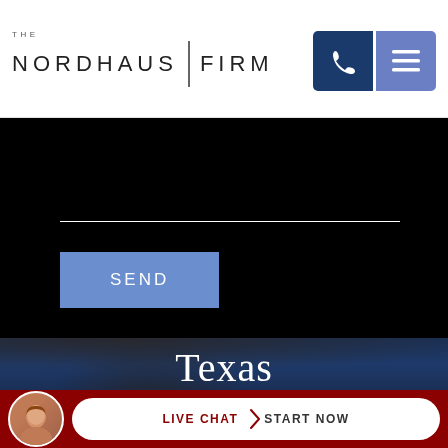THE NORDHAUS FIRM
[Figure (screenshot): Dark form section with a horizontal white line (input field) and a blue SEND button]
Texas
5900 S. Lake Forest Drive Suite 415
LIVE CHAT START NOW